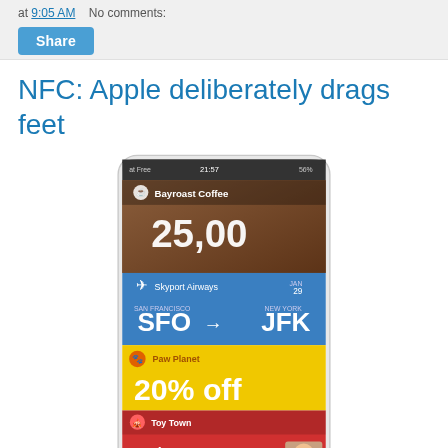at 9:05 AM   No comments:
[Figure (other): Share button (blue rounded rectangle)]
NFC: Apple deliberately drags feet
[Figure (screenshot): A mobile phone screen showing a Passbook-like app with cards: Bayroast Coffee showing 25.00, Skyport Airways showing SFO to JFK flight, Paw Planet showing 20% off, and Toy Town showing Johnny with a photo.]
Apple has set foot in an area where it is long overdue: the contact less payment. The presentation of this application may suggest that Apple will go further with the successor of 4S who could manage the NFC. At least that's what you might think on the surface. In mid-June, Phil Schiller had